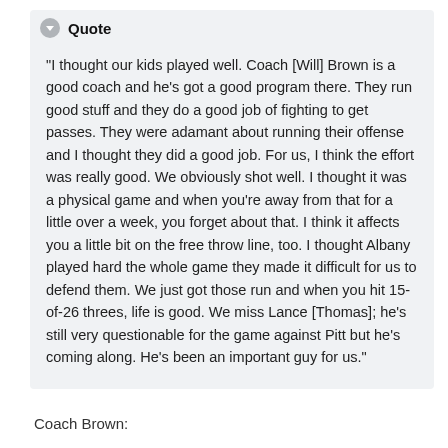Quote
“I thought our kids played well. Coach [Will] Brown is a good coach and he’s got a good program there. They run good stuff and they do a good job of fighting to get passes. They were adamant about running their offense and I thought they did a good job. For us, I think the effort was really good. We obviously shot well. I thought it was a physical game and when you’re away from that for a little over a week, you forget about that. I think it affects you a little bit on the free throw line, too. I thought Albany played hard the whole game they made it difficult for us to defend them. We just got those run and when you hit 15-of-26 threes, life is good. We miss Lance [Thomas]; he’s still very questionable for the game against Pitt but he’s coming along. He’s been an important guy for us.”
Coach Brown: